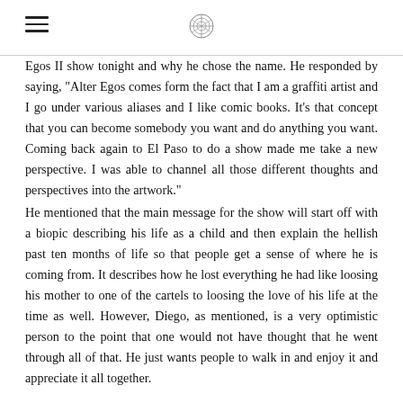[hamburger menu icon] [logo]
Egos II show tonight and why he chose the name. He responded by saying, "Alter Egos comes form the fact that I am a graffiti artist and I go under various aliases and I like comic books. It's that concept that you can become somebody you want and do anything you want. Coming back again to El Paso to do a show made me take a new perspective. I was able to channel all those different thoughts and perspectives into the artwork."
He mentioned that the main message for the show will start off with a biopic describing his life as a child and then explain the hellish past ten months of life so that people get a sense of where he is coming from. It describes how he lost everything he had like loosing his mother to one of the cartels to loosing the love of his life at the time as well. However, Diego, as mentioned, is a very optimistic person to the point that one would not have thought that he went through all of that. He just wants people to walk in and enjoy it and appreciate it all together.